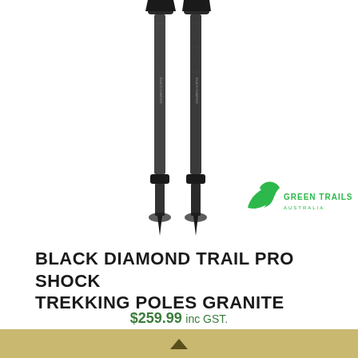[Figure (photo): Two Black Diamond Trail Pro Shock trekking poles in dark/granite color, shown upright with Green Trails Australia logo overlay in bottom right]
BLACK DIAMOND TRAIL PRO SHOCK TREKKING POLES GRANITE
$259.99 inc GST.
READ MORE